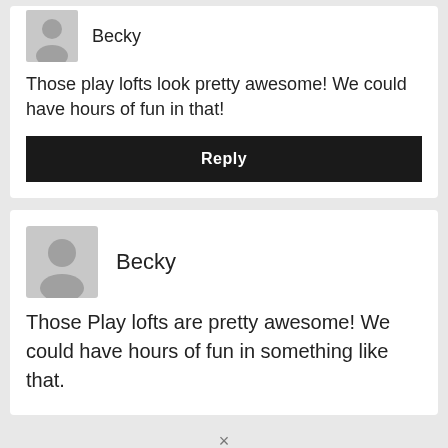Becky
Those play lofts look pretty awesome! We could have hours of fun in that!
Reply
Becky
Those Play lofts are pretty awesome! We could have hours of fun in something like that.